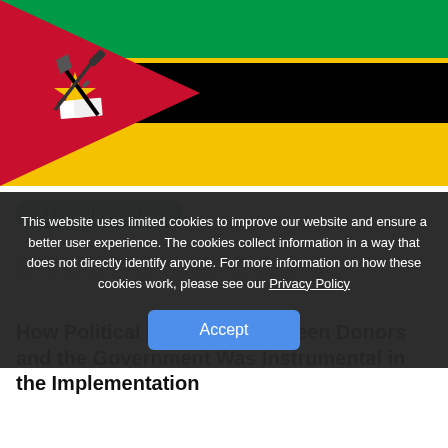[Figure (photo): Mozambique national flag showing green, black, and yellow horizontal stripes with a red triangle on the left side containing a yellow star, crossed rifle and hoe, and open book.]
RESSOURCES (20)
ETUDES DE CAS
This website uses limited cookies to improve our website and ensure a better user experience. The cookies collect information in a way that does not directly identify anyone. For more information on how these cookies work, please see our Privacy Policy
Accept
How Political Di... Between Donors and the Government Was Instrumental in the Implementation